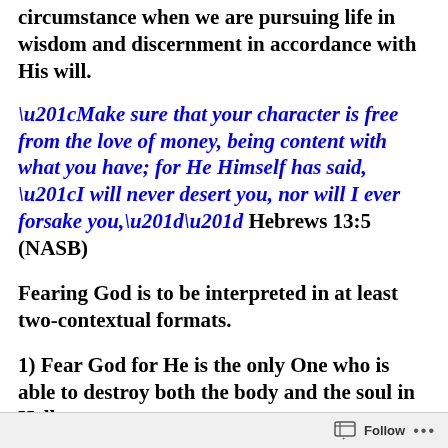circumstance when we are pursuing life in wisdom and discernment in accordance with His will.
“Make sure that your character is free from the love of money, being content with what you have; for He Himself has said, “I will never desert you, nor will I ever forsake you,”” Hebrews 13:5 (NASB)
Fearing God is to be interpreted in at least two-contextual formats.
1) Fear God for He is the only One who is able to destroy both the body and the soul in Hell.
Follow ...